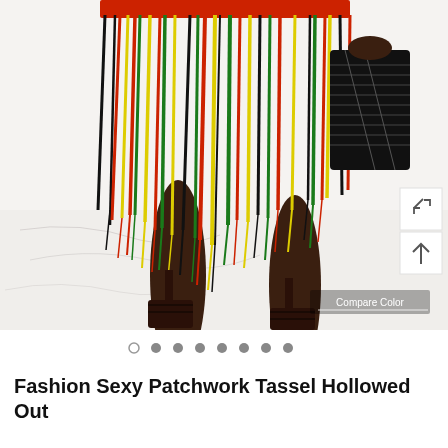[Figure (photo): Fashion product photo showing a dark-skinned model from waist down wearing a colorful crochet tassel fringe skirt in red, yellow, green and black colors with a red crochet top. The model carries a black structured bag and wears black strappy heeled sandals. Background is white/marble floor. Two UI buttons (expand and scroll-up) appear in bottom-right corner. 'Compare Color' label appears at bottom-right of image. Eight navigation dots appear below image.]
Fashion Sexy Patchwork Tassel Hollowed Out